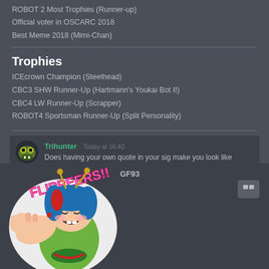ROBOT 2 Most Trophies (Runner-up)
Official voter in OSCARC 2018
Best Meme 2018 (Mimi-Chan)
Trophies
ICEcrown Champion (Steelhead)
CBC3 SHW Runner-Up (Hartmann's Youkai Bot II)
CBC4 LW Runner-Up (Scrapper)
ROBOT4 Sportsman Runner-Up (Split Personality)
Trihunter Today at 16:40
Does having your own quote in your sig make you look like an asshole
GF93
[Figure (illustration): Anime-style cartoon character with blue hair punching forward with text FLIPPEERS!! in pink letters above]